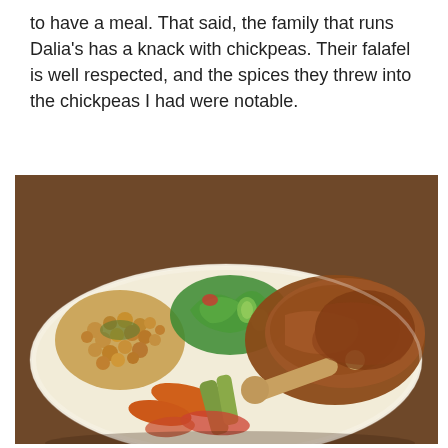to have a meal. That said, the family that runs Dalia's has a knack with chickpeas. Their falafel is well respected, and the spices they threw into the chickpeas I had were notable.
[Figure (photo): A plate of food on a wooden table featuring spiced chickpeas, a green salad with cucumbers and tomatoes, and a large braised lamb shank or leg with cooked carrots, celery, and other vegetables on a round white plate.]